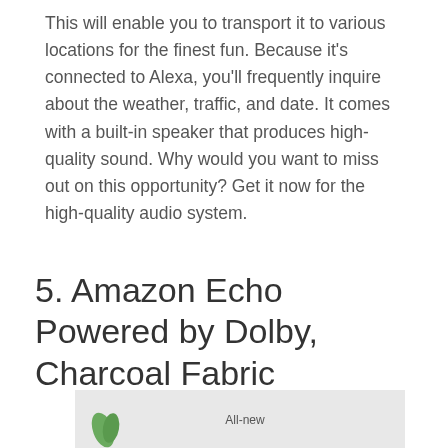This will enable you to transport it to various locations for the finest fun. Because it’s connected to Alexa, you’ll frequently inquire about the weather, traffic, and date. It comes with a built-in speaker that produces high-quality sound. Why would you want to miss out on this opportunity? Get it now for the high-quality audio system.
5. Amazon Echo Powered by Dolby, Charcoal Fabric
[Figure (photo): Partial product image showing the bottom portion of an Amazon Echo device on a light gray background with 'All-new' text label visible]